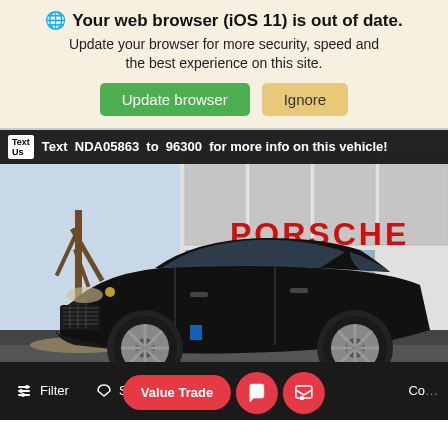🌐 Your web browser (iOS 11) is out of date. Update your browser for more security, speed and the best experience on this site.
Update browser | Ignore
[Figure (photo): A black Porsche Cayenne SUV parked in front of a Porsche dealership building. The image has a top banner reading: Text NDA05863 to 96300 for more info on this vehicle!]
Value Trade | Chat icon | Message icon
Filter | Saved | Co...